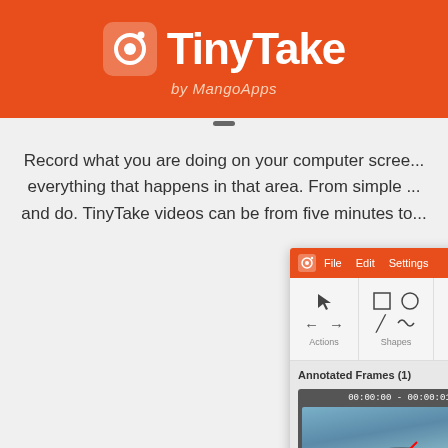[Figure (logo): TinyTake by MangoApps logo on orange background with camera icon]
Record what you are doing on your computer scree... everything that happens in that area. From simple ... and do. TinyTake videos can be from five minutes to...
[Figure (screenshot): TinyTake application screenshot showing video annotation interface with toolbar (Actions, Shapes, Annotations, Effects, Colors), Annotated Frames panel with a swimmer frame (00:00:00 - 00:00:01), and a black preview area]